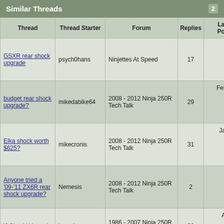Similar Threads
| Thread | Thread Starter | Forum | Replies | Last Post |
| --- | --- | --- | --- | --- |
| GSXR rear shock upgrade | psych0hans | Ninjettes At Speed | 17 | Jun 17th 201... 11:4... P |
| budget rear shock upgrade? | mikedabike64 | 2008 - 2012 Ninja 250R Tech Talk | 29 | Februa... 3r... 201... 11:3... P |
| Elka shock worth $625? | mikecronis | 2008 - 2012 Ninja 250R Tech Talk | 31 | Janua... 31s... 201... 05:0... P |
| Anyone tried a '09-'11 ZX6R rear shock upgrade? | Nemesis | 2008 - 2012 Ninja 250R Tech Talk | 2 | Ap... 21s... 201... 11:2... A |
| 'J Shock' Upgrade | komohana | 1986 - 2007 Ninja 250R Tech Talk | 20 | Augu... 15t... 200... 09:0... |